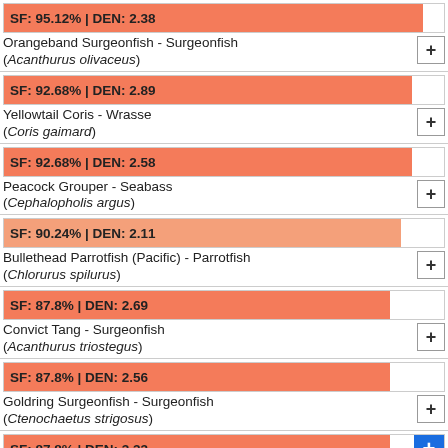[Figure (bar-chart): Fish species list with SF and DEN scores]